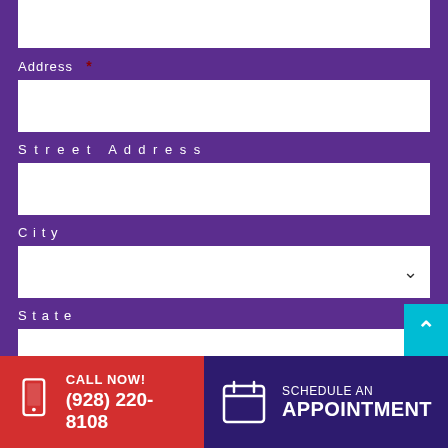Address *
Street Address
City
State
ZIP Code
What can we help you with? *
CALL NOW! (928) 220-8108
SCHEDULE AN APPOINTMENT